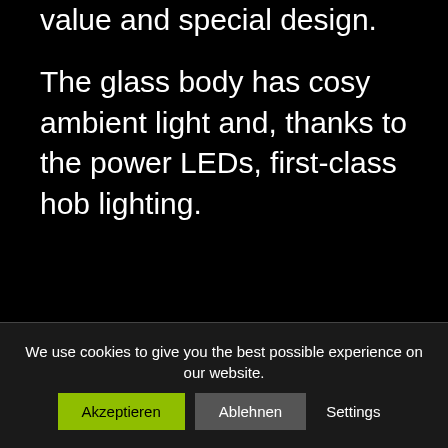value and special design.
The glass body has cosy ambient light and, thanks to the power LEDs, first-class hob lighting.
We use cookies to give you the best possible experience on our website.
Akzeptieren
Ablehnen
Settings